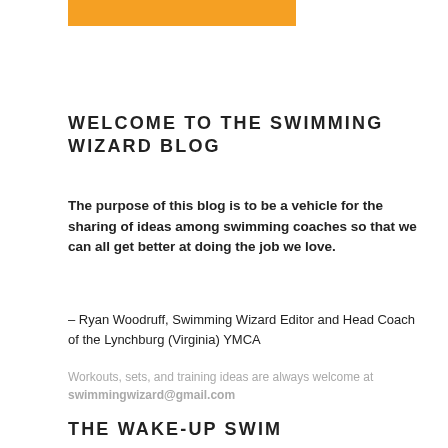[Figure (other): Orange horizontal bar at top of page]
WELCOME TO THE SWIMMING WIZARD BLOG
The purpose of this blog is to be a vehicle for the sharing of ideas among swimming coaches so that we can all get better at doing the job we love.
– Ryan Woodruff, Swimming Wizard Editor and Head Coach of the Lynchburg (Virginia) YMCA
Workouts, sets, and training ideas are always welcome at swimmingwizard@gmail.com
THE WAKE-UP SWIM